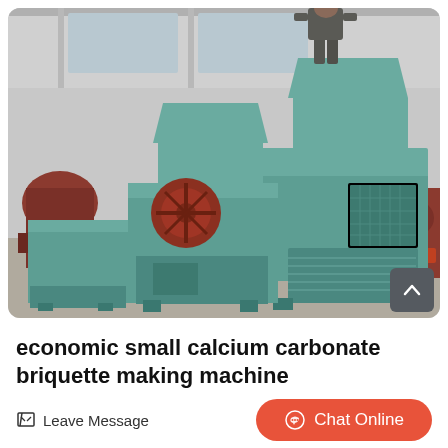[Figure (photo): Industrial factory floor showing large teal/green calcium carbonate briquette making machines. A worker in gray clothing stands on top of one of the machines. Multiple similar machines are visible in the background.]
economic small calcium carbonate briquette making machine
Leave Message
Chat Online